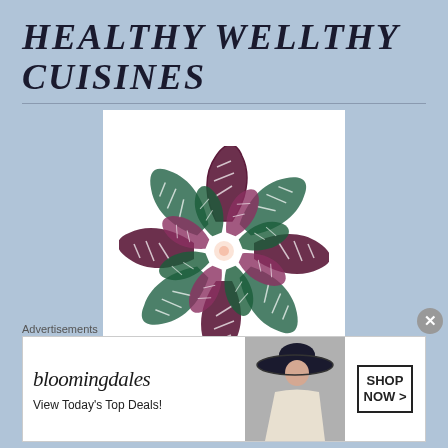HEALTHY WELLTHY CUISINES
[Figure (logo): Circular mandala logo made of intertwining DNA double-helix strands in dark maroon/purple and green colors, arranged in a radial pattern. Below the mandala reads 'Healthy Wellthy Cuisines' in italic purple text.]
Advertisements
[Figure (other): Bloomingdale's advertisement banner showing 'bloomingdales' text, 'View Today's Top Deals!' tagline, a woman in a hat, and a 'SHOP NOW >' button.]